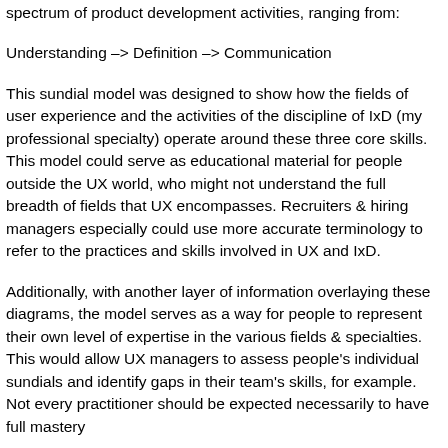spectrum of product development activities, ranging from:
Understanding -> Definition -> Communication
This sundial model was designed to show how the fields of user experience and the activities of the discipline of IxD (my professional specialty) operate around these three core skills. This model could serve as educational material for people outside the UX world, who might not understand the full breadth of fields that UX encompasses. Recruiters & hiring managers especially could use more accurate terminology to refer to the practices and skills involved in UX and IxD.
Additionally, with another layer of information overlaying these diagrams, the model serves as a way for people to represent their own level of expertise in the various fields & specialties. This would allow UX managers to assess people's individual sundials and identify gaps in their team's skills, for example. Not every practitioner should be expected necessarily to have full mastery